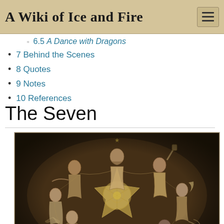A Wiki of Ice and Fire
6.5 A Dance with Dragons
7 Behind the Scenes
8 Quotes
9 Notes
10 References
The Seven
[Figure (illustration): A sepia-toned detailed pencil or ink illustration showing seven intertwined figures arranged in a circular composition around a central seven-pointed star symbol. The figures represent the seven aspects of the Faith of the Seven from George R.R. Martin's A Song of Ice and Fire series. The artwork is dark and intricate, featuring robed figures with various attributes including scales of justice, a scepter, and a crescent moon symbol.]